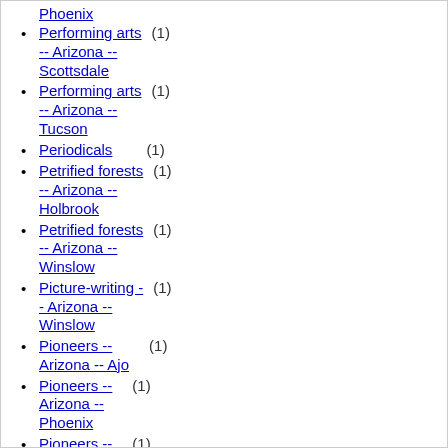Phoenix
Performing arts (1) -- Arizona -- Scottsdale
Performing arts (1) -- Arizona -- Tucson
Periodicals (1)
Petrified forests (1) -- Arizona -- Holbrook
Petrified forests (1) -- Arizona -- Winslow
Picture-writing - (1) - Arizona -- Winslow
Pioneers -- Arizona -- Ajo (1)
Pioneers -- Arizona -- Phoenix (1)
Pioneers -- Arizona -- Tempe (1)
Pioneers -- Arizona -- Young (1)
Plants -- (1)